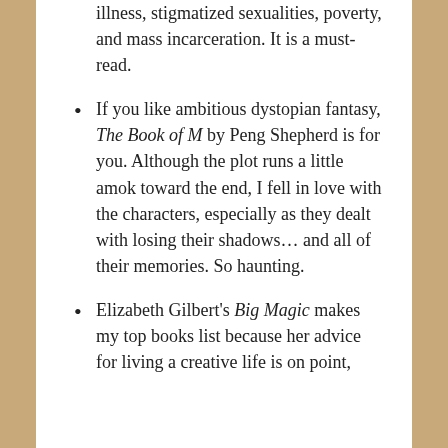illness, stigmatized sexualities, poverty, and mass incarceration. It is a must-read.
If you like ambitious dystopian fantasy, The Book of M by Peng Shepherd is for you. Although the plot runs a little amok toward the end, I fell in love with the characters, especially as they dealt with losing their shadows… and all of their memories. So haunting.
Elizabeth Gilbert's Big Magic makes my top books list because her advice for living a creative life is on point,